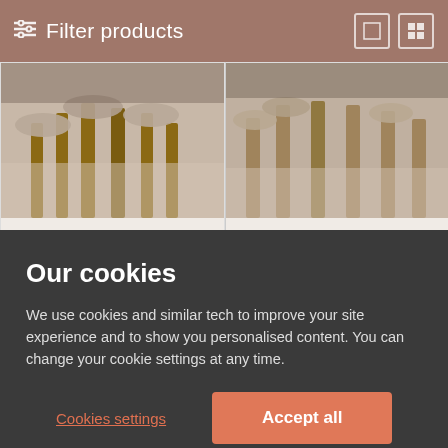Filter products
[Figure (photo): Dining chairs and table legs, close-up view, beige/taupe tones]
[Figure (photo): Dining chairs around a round oak table, oatmeal fabric upholstery, light wood legs]
Hatton Round Oak and Glass Dining Table with 4 Bewley Mink Velvet Chairs
★★★★½ (10)
Kingston Round Oak Dining Table with 4 Bewley Oatmeal Fabric Chairs
★★★★½ (15)
Our cookies
We use cookies and similar tech to improve your site experience and to show you personalised content. You can change your cookie settings at any time.
Cookies settings
Accept all